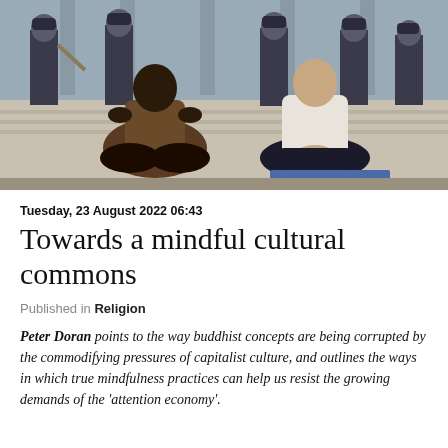[Figure (photo): Two men sitting cross-legged on the ground in meditation poses, surrounded by police officers in riot gear holding batons. The man on the left wears a brown shirt, the man on the right wears a white shirt. The scene appears to be a protest or civil action.]
Tuesday, 23 August 2022 06:43
Towards a mindful cultural commons
Published in Religion
Peter Doran points to the way buddhist concepts are being corrupted by the commodifying pressures of capitalist culture, and outlines the ways in which true mindfulness practices can help us resist the growing demands of the 'attention economy'.